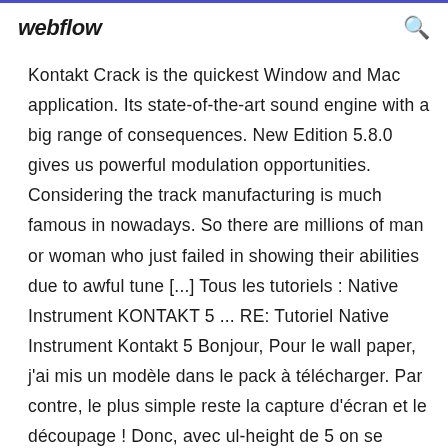webflow
Kontakt Crack is the quickest Window and Mac application. Its state-of-the-art sound engine with a big range of consequences. New Edition 5.8.0 gives us powerful modulation opportunities. Considering the track manufacturing is much famous in nowadays. So there are millions of man or woman who just failed in showing their abilities due to awful tune [...] Tous les tutoriels : Native Instrument KONTAKT 5 ... RE: Tutoriel Native Instrument Kontakt 5 Bonjour, Pour le wall paper, j'ai mis un modèle dans le pack à télécharger. Par contre, le plus simple reste la capture d'écran et le découpage ! Donc, avec ul-height de 5 on se